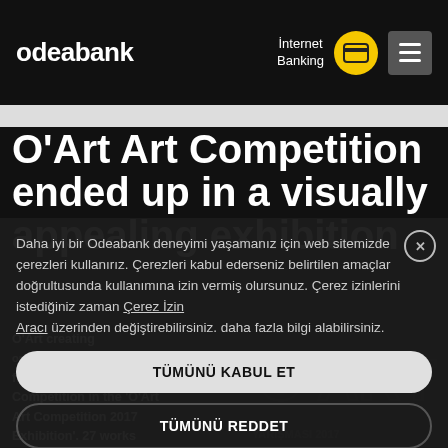odeabank | Internet Banking
O'Art Art Competition ended up in a visually appealing exhibition
O'Art creating opportunities finalists of its second Art Competition in the 'O'Art Art Competition 2017 Exhibition'. 27 works
Daha iyi bir Odeabank deneyimi yaşamanız için web sitemizde çerezleri kullanırız. Çerezleri kabul ederseniz belirtilen amaçlar doğrultusunda kullanımına izin vermiş olursunuz. Çerez izinlerini istediğiniz zaman Çerez İzin Aracı üzerinden değiştirebilirsiniz. daha fazla bilgi alabilirsiniz.
TÜMÜNÜ KABUL ET
TÜMÜNÜ REDDET